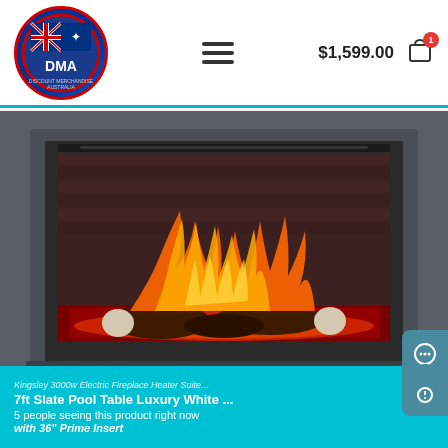[Figure (logo): DMA Discount Merchandise Australia circular logo with Australian flag]
$1,599.00
[Figure (photo): Electric fireplace with mantel surround in dark grey, showing glowing flame effect with logs inside the firebox insert]
7ft Slate Pool Table Luxury White ...
5 people seeing this product right now
Kingsley 3000w Electric Fireplace Heater Suite with 36" Prime Insert